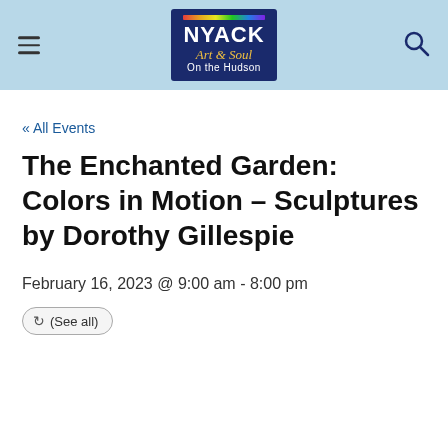NYACK Art & Soul On the Hudson
« All Events
The Enchanted Garden: Colors in Motion – Sculptures by Dorothy Gillespie
February 16, 2023 @ 9:00 am - 8:00 pm
(See all)